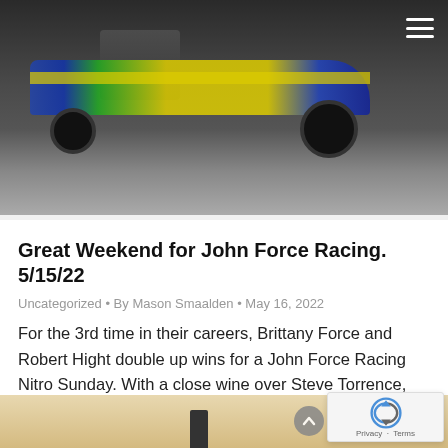[Figure (photo): Photo of a drag racing car (NHRA Top Fuel dragster) in yellow/green/blue livery with crew members standing beside it on a racetrack.]
Great Weekend for John Force Racing. 5/15/22
Uncategorized • By Mason Smaalden • May 16, 2022
For the 3rd time in their careers, Brittany Force and Robert Hight double up wins for a John Force Racing Nitro Sunday. With a close wine over Steve Torrence, Brittany collected her 14th Wally and the 3rd of this season. Extending her season points lead over Steve to 81. This bring the final round tally…
[Figure (photo): Partial bottom photo, appears to show a racing or outdoor scene with beige/tan background and a dark vertical object.]